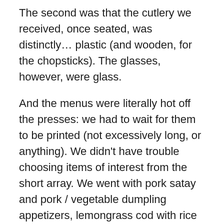The second was that the cutlery we received, once seated, was distinctly… plastic (and wooden, for the chopsticks). The glasses, however, were glass.
And the menus were literally hot off the presses: we had to wait for them to be printed (not excessively long, or anything). We didn't have trouble choosing items of interest from the short array. We went with pork satay and pork / vegetable dumpling appetizers, lemongrass cod with rice and cucumber salad as the main, and the only dessert, which combined a variety of tropical ingredients. We shared everything.
The list of wines by the glass was modest, and Jean asked which one might work best with the variety of food we'd selected. The waiter returned with a Chenin Blanc that wasn't even on the menu, but was fantastic. Later,